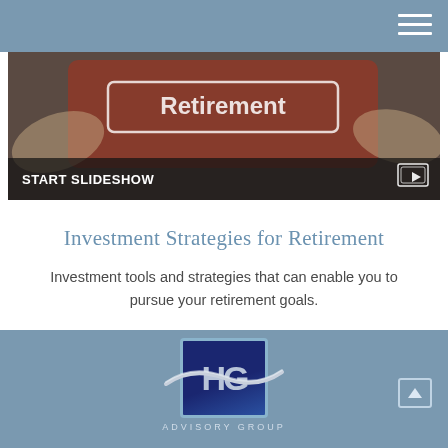[Figure (screenshot): Hero image showing hands holding a tablet with 'Retirement' text on screen, with a 'START SLIDESHOW' bar at the bottom and a play icon in the corner]
Investment Strategies for Retirement
Investment tools and strategies that can enable you to pursue your retirement goals.
[Figure (logo): HF Advisory Group logo — square blue box with stylized HG letters and a chrome swoosh, with 'ADVISORY GROUP' text below]